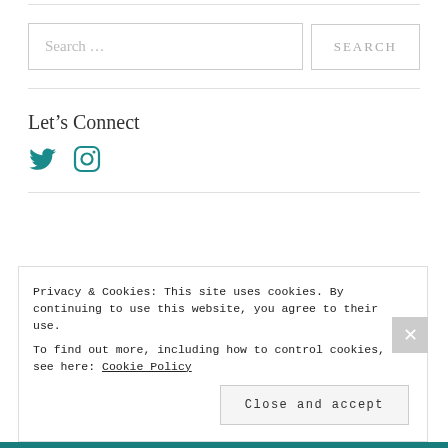[Figure (other): Search bar with text input showing 'Search …' placeholder and a 'SEARCH' button]
Let's Connect
[Figure (other): Social media icons: Twitter bird icon and Instagram camera icon, both in teal color]
Privacy & Cookies: This site uses cookies. By continuing to use this website, you agree to their use. To find out more, including how to control cookies, see here: Cookie Policy
Close and accept